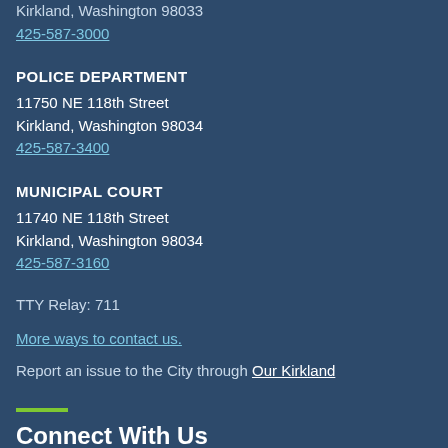Kirkland, Washington 98033
425-587-3000
POLICE DEPARTMENT
11750 NE 118th Street
Kirkland, Washington 98034
425-587-3400
MUNICIPAL COURT
11740 NE 118th Street
Kirkland, Washington 98034
425-587-3160
TTY Relay: 711
More ways to contact us.
Report an issue to the City through Our Kirkland
Connect With Us